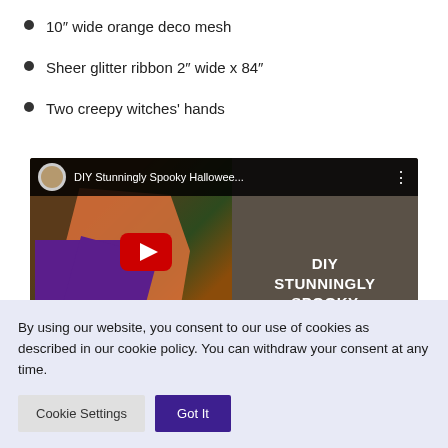10″ wide orange deco mesh
Sheer glitter ribbon 2″ wide x 84″
Two creepy witches' hands
[Figure (screenshot): YouTube video thumbnail for 'DIY Stunningly Spooky Hallowee...' showing a Halloween wreath made with orange deco mesh and purple skull bow, with play button overlay and channel avatar.]
By using our website, you consent to our use of cookies as described in our cookie policy. You can withdraw your consent at any time.